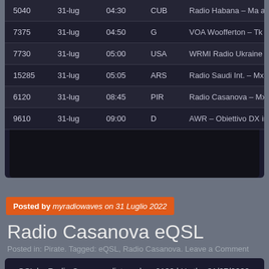| Freq | Date | Time | CTY | Description |
| --- | --- | --- | --- | --- |
| 5040 | 31-lug | 04:30 | CUB | Radio Habana – Ma ancd tk |
| 7375 | 31-lug | 04:50 | G | VOA Woofferton – Tk about |
| 7730 | 31-lug | 05:00 | USA | WRMI Radio Ukraine Int. – |
| 15285 | 31-lug | 05:05 | ARS | Radio Saudi Int. – Mx Alka Y |
| 6120 | 31-lug | 08:45 | PIR | Radio Casanova – Mx Corry |
| 9610 | 31-lug | 09:00 | D | AWR – Obiettivo DX in It., g |
Posted by myradiowaves on 31 Luglio 2022
Radio Casanova eQSL
Posted in: Pirate. Tagged: eQSL, Radio Casanova. Leave a Comment
eQSL by Radio Casanova listened on 6120 kHz the 31/07/2022. Report sent to radiocasanova@hotmail.com. eQSL in 1 hour...